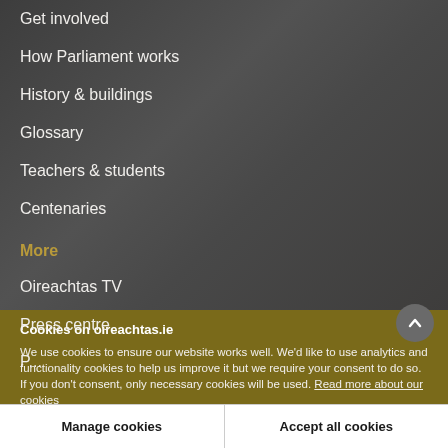Get involved
How Parliament works
History & buildings
Glossary
Teachers & students
Centenaries
More
Oireachtas TV
Press centre
Cookies on oireachtas.ie
We use cookies to ensure our website works well. We'd like to use analytics and functionality cookies to help us improve it but we require your consent to do so. If you don't consent, only necessary cookies will be used. Read more about our cookies
Manage cookies
Accept all cookies